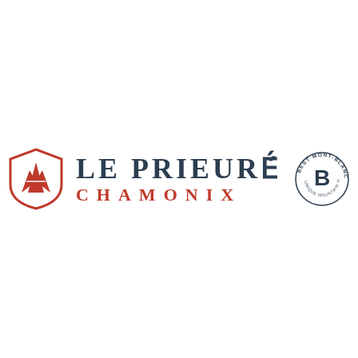[Figure (logo): Le Prieuré Chamonix hotel logo with red shield emblem on the left, dark navy text 'LE PRIEURÉ' on top and 'CHAMONIX' in red below, and a circular 'Best Mont-Blanc Unique Mountain Hotels' badge with a stylized B on the right.]